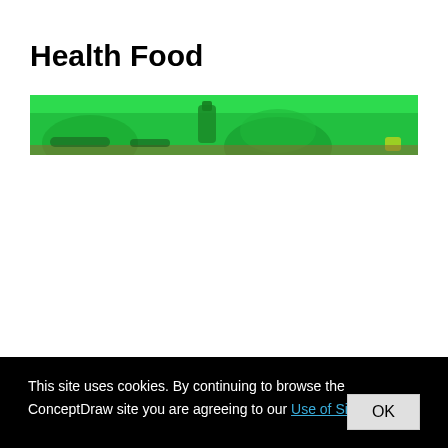Health Food
[Figure (illustration): A wide green banner image showing silhouettes of food items and kitchen objects against a bright green background]
This site uses cookies. By continuing to browse the ConceptDraw site you are agreeing to our Use of Site Cookies.